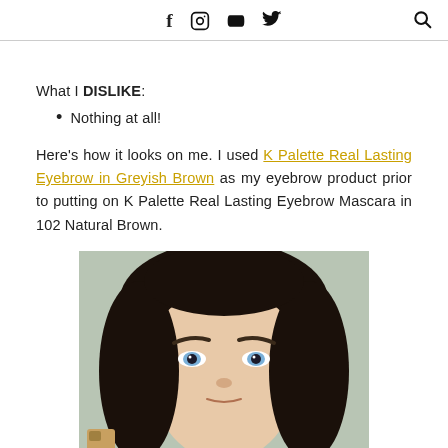f  instagram  youtube  twitter  [search]
What I DISLIKE:
Nothing at all!
Here's how it looks on me. I used K Palette Real Lasting Eyebrow in Greyish Brown as my eyebrow product prior to putting on K Palette Real Lasting Eyebrow Mascara in 102 Natural Brown.
[Figure (photo): Close-up photo of a woman with styled eyebrows, dark hair, and light blue contact lenses, used to demonstrate K Palette Real Lasting Eyebrow Mascara in 102 Natural Brown]